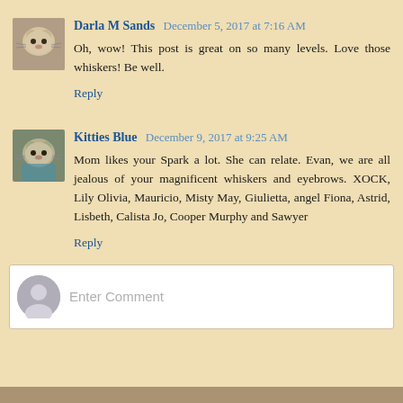Darla M Sands  December 5, 2017 at 7:16 AM
Oh, wow! This post is great on so many levels. Love those whiskers! Be well.
Reply
Kitties Blue  December 9, 2017 at 9:25 AM
Mom likes your Spark a lot. She can relate. Evan, we are all jealous of your magnificent whiskers and eyebrows. XOCK, Lily Olivia, Mauricio, Misty May, Giulietta, angel Fiona, Astrid, Lisbeth, Calista Jo, Cooper Murphy and Sawyer
Reply
Enter Comment